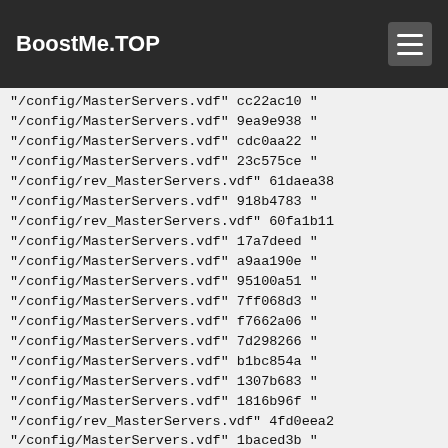BoostMe.TOP
"/config/MasterServers.vdf"    cc22ac10   "
"/config/MasterServers.vdf"    9ea9e938   "
"/config/MasterServers.vdf"    cdc0aa22   "
"/config/MasterServers.vdf"    23c575ce   "
"/config/rev_MasterServers.vdf"    61daea38
"/config/MasterServers.vdf"    918b4783   "
"/config/rev_MasterServers.vdf"    60fa1b11
"/config/MasterServers.vdf"    17a7deed   "
"/config/MasterServers.vdf"    a9aa190e   "
"/config/MasterServers.vdf"    95100a51   "
"/config/MasterServers.vdf"    7ff068d3   "
"/config/MasterServers.vdf"    f7662a06   "
"/config/MasterServers.vdf"    7d298266   "
"/config/MasterServers.vdf"    b1bc854a   "
"/config/MasterServers.vdf"    1307b683   "
"/config/MasterServers.vdf"    1816b96f   "
"/config/rev_MasterServers.vdf"    4fd0eea2
"/config/MasterServers.vdf"    1baced3b   "
"/config/MasterServers.vdf"    703276fd   "
"/chromehtml.dll"    43d2a3b6    "amx_ms [us
"/config/rev_MasterServers.vdf"    4b5f8a38